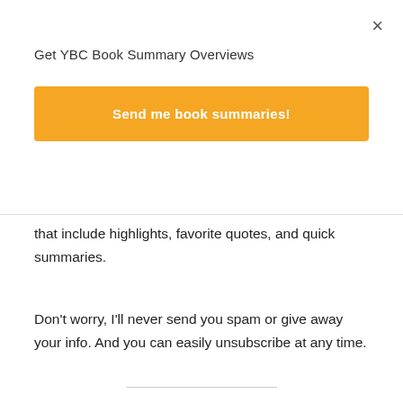×
Get YBC Book Summary Overviews
Send me book summaries!
that include highlights, favorite quotes, and quick summaries.
Don't worry, I'll never send you spam or give away your info. And you can easily unsubscribe at any time.
Try Audible for audiobooks 📚🎧